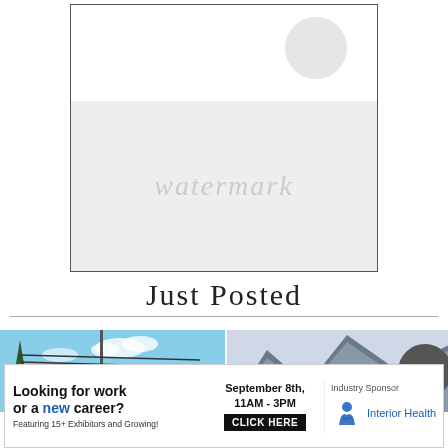[Figure (photo): Large placeholder/advertisement image box with border, faded watermark circle in top-right corner, and faded background image content]
Just Posted
[Figure (photo): Left photo showing telephone/utility pole with wires against blue sky with evergreen trees]
[Figure (photo): Right photo showing mountain landscape with grey/blue tones]
Looking for work or a new career? Featuring 15+ Exhibitors and Growing! September 8th, 11AM - 3PM CLICK HERE Industry Sponsor Interior Health